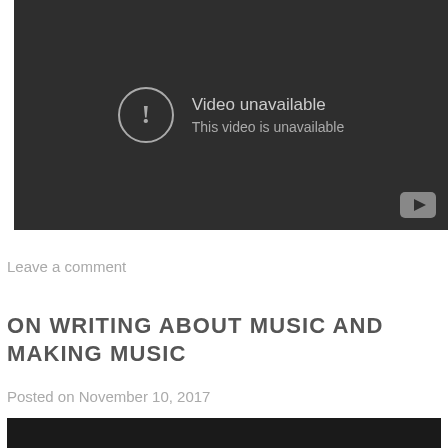[Figure (screenshot): YouTube video player showing 'Video unavailable' error message with exclamation icon and YouTube logo in bottom right corner, dark background.]
Leave a comment
ON WRITING ABOUT MUSIC AND MAKING MUSIC
Posted on November 10, 2017
[Figure (photo): Dark image partially visible at bottom of page.]